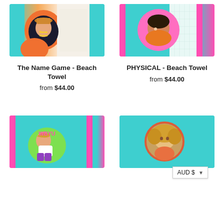[Figure (photo): The Name Game beach towel product image - colorful towel with teal, orange, and illustrated character]
[Figure (photo): PHYSICAL beach towel product image - colorful towel with teal, pink border and illustrated character]
The Name Game - Beach Towel
from $44.00
PHYSICAL - Beach Towel
from $44.00
[Figure (photo): Bottom left beach towel product image - teal towel with pink borders and illustrated character]
[Figure (photo): Bottom right beach towel product image - teal towel with illustrated character and AUD $ currency selector overlay]